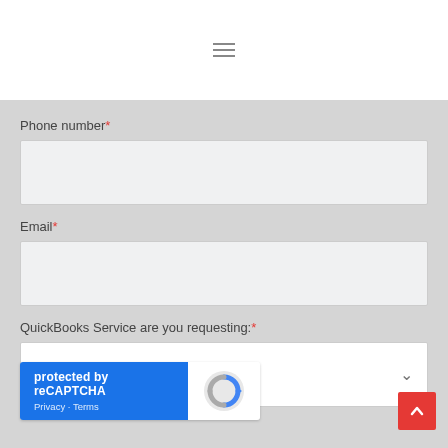[Figure (other): Hamburger menu icon (three horizontal lines) on white header background]
Phone number*
[Figure (other): Phone number text input field (empty, light gray background)]
Email*
[Figure (other): Email text input field (empty, light gray background)]
QuickBooks Service are you requesting:*
[Figure (other): Dropdown select box with placeholder text 'Please Select' and dropdown arrow]
[Figure (other): reCAPTCHA widget: blue section with 'protected by reCAPTCHA' text and Privacy - Terms links, white section with reCAPTCHA logo]
[Figure (other): Red back-to-top button with white upward chevron arrow in bottom right corner]